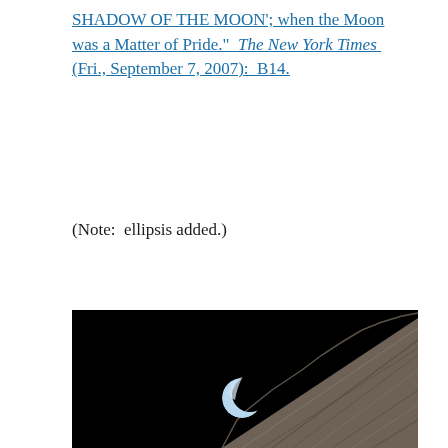SHADOW OF THE MOON'; when the Moon was a Matter of Pride." The New York Times (Fri., September 7, 2007): B14.
(Note: ellipsis added.)
[Figure (photo): Space photograph showing a crescent Earth rising above the rugged lunar surface horizon against a black space background. The Moon's gray rocky terrain occupies the lower right, with a thin crescent of Earth visible in the center-left portion of the image.]